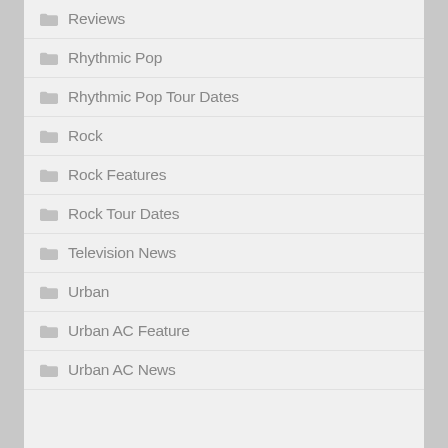Reviews
Rhythmic Pop
Rhythmic Pop Tour Dates
Rock
Rock Features
Rock Tour Dates
Television News
Urban
Urban AC Feature
Urban AC News